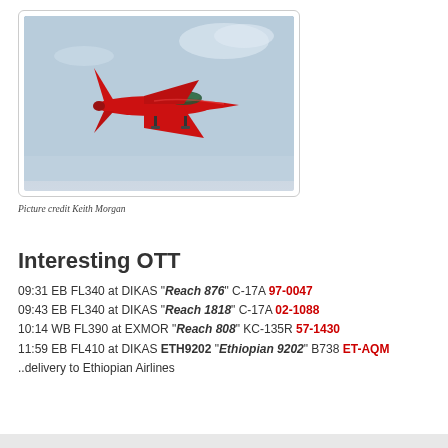[Figure (photo): Red military jet aircraft in flight against a light blue sky, viewed from the side, with landing gear down.]
Picture credit Keith Morgan
Interesting OTT
09:31 EB FL340 at DIKAS "Reach 876" C-17A 97-0047
09:43 EB FL340 at DIKAS "Reach 1818" C-17A 02-1088
10:14 WB FL390 at EXMOR "Reach 808" KC-135R 57-1430
11:59 EB FL410 at DIKAS ETH9202 "Ethiopian 9202" B738 ET-AQM ..delivery to Ethiopian Airlines